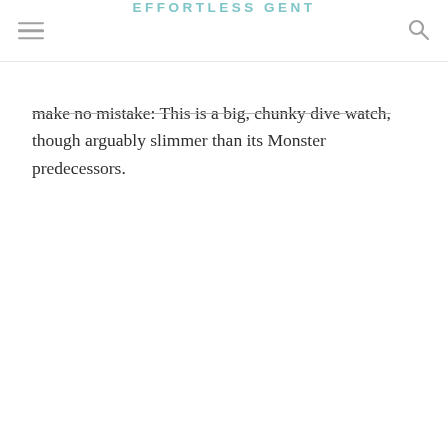EFFORTLESS GENT
make no mistake: This is a big, chunky dive watch, though arguably slimmer than its Monster predecessors.